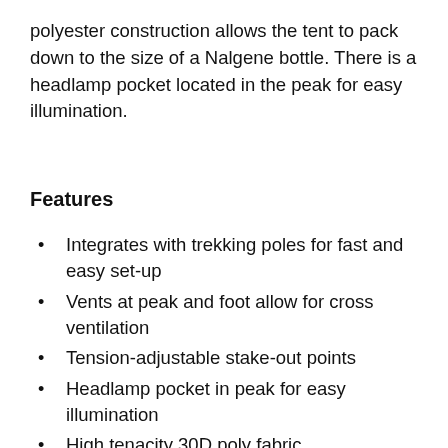polyester construction allows the tent to pack down to the size of a Nalgene bottle. There is a headlamp pocket located in the peak for easy illumination.
Features
Integrates with trekking poles for fast and easy set-up
Vents at peak and foot allow for cross ventilation
Tension-adjustable stake-out points
Headlamp pocket in peak for easy illumination
High tenacity 30D poly fabric